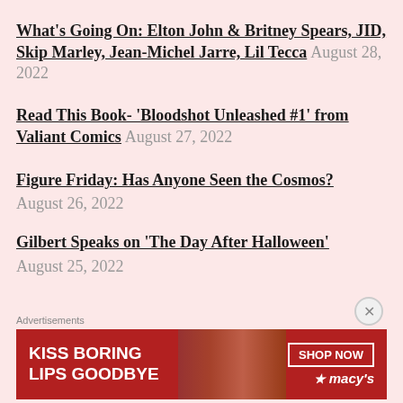What's Going On: Elton John & Britney Spears, JID, Skip Marley, Jean-Michel Jarre, Lil Tecca August 28, 2022
Read This Book- 'Bloodshot Unleashed #1' from Valiant Comics August 27, 2022
Figure Friday: Has Anyone Seen the Cosmos? August 26, 2022
Gilbert Speaks on 'The Day After Halloween' August 25, 2022
[Figure (infographic): Macy's advertisement banner: 'KISS BORING LIPS GOODBYE' with SHOP NOW button and Macy's star logo on dark red background with model image]